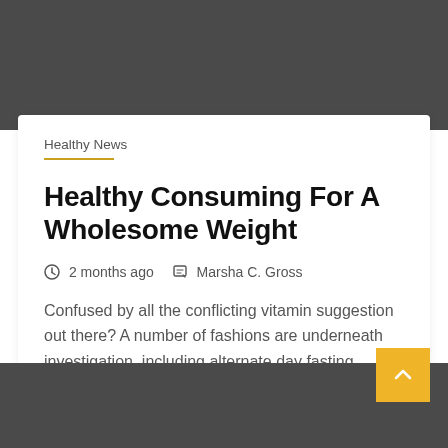[Figure (other): Dark gray header background area]
2 min read
Healthy News
Healthy Consuming For A Wholesome Weight
2 months ago   Marsha C. Gross
Confused by all the conflicting vitamin suggestion out there? A number of fashions are underneath investigation, including alternate day fasting...